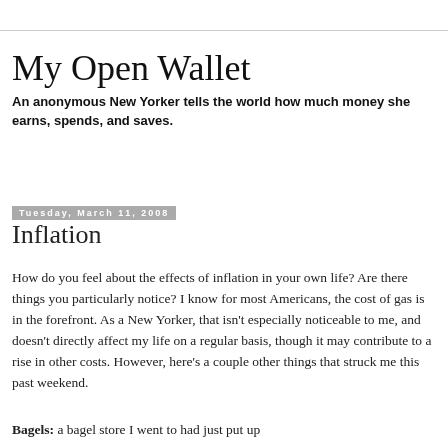My Open Wallet
An anonymous New Yorker tells the world how much money she earns, spends, and saves.
Tuesday, March 11, 2008
Inflation
How do you feel about the effects of inflation in your own life? Are there things you particularly notice? I know for most Americans, the cost of gas is in the forefront. As a New Yorker, that isn't especially noticeable to me, and doesn't directly affect my life on a regular basis, though it may contribute to a rise in other costs. However, here's a couple other things that struck me this past weekend.
Bagels: a bagel store I went to had just put up